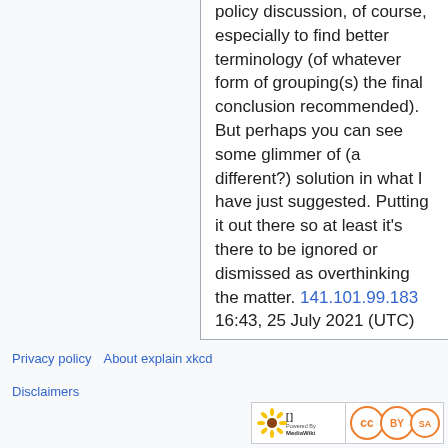policy discussion, of course, especially to find better terminology (of whatever form of grouping(s) the final conclusion recommended). But perhaps you can see some glimmer of (a different?) solution in what I have just suggested. Putting it out there so at least it's there to be ignored or dismissed as overthinking the matter. 141.101.99.183 16:43, 25 July 2021 (UTC)
Privacy policy   About explain xkcd   Disclaimers
[Figure (logo): Powered by MediaWiki logo and Creative Commons BY-SA license badge]